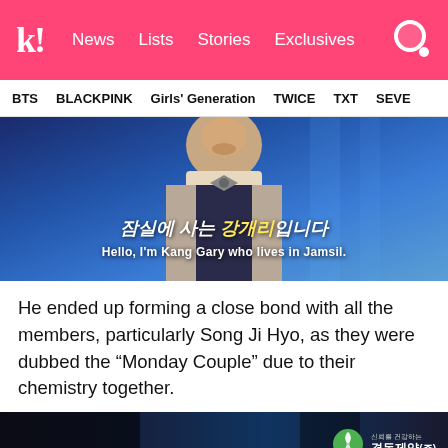k! News Lists Stories Exclusives
BTS  BLACKPINK  Girls' Generation  TWICE  TXT  SEVE
[Figure (screenshot): Screenshot of a man in a suit vest with bow tie. Korean subtitle reads: 잠실에 사는 강개리입니다. English subtitle: Hello, I'm Kang Gary who lives in Jamsil.]
He ended up forming a close bond with all the members, particularly Song Ji Hyo, as they were dubbed the “Monday Couple” due to their chemistry together.
[Figure (screenshot): Dark screenshot still from video with Kyungdong Pharmaceutical logo in the bottom right corner showing the text 경동제약(주).]